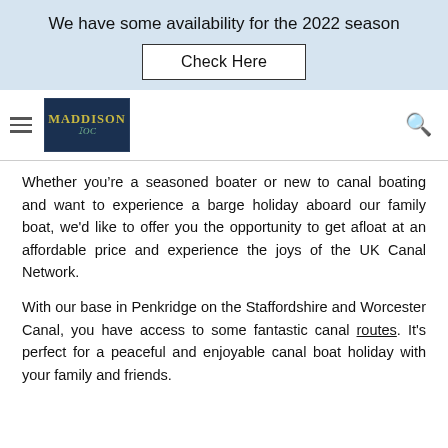We have some availability for the 2022 season
Check Here
[Figure (logo): Maddison logo with dark blue background and gold/teal text]
Whether you're a seasoned boater or new to canal boating and want to experience a barge holiday aboard our family boat, we'd like to offer you the opportunity to get afloat at an affordable price and experience the joys of the UK Canal Network.
With our base in Penkridge on the Staffordshire and Worcester Canal, you have access to some fantastic canal routes. It's perfect for a peaceful and enjoyable canal boat holiday with your family and friends.